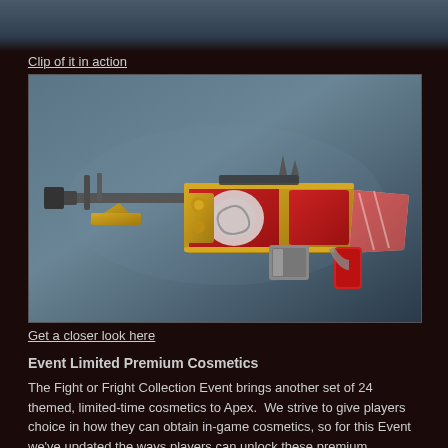[Figure (photo): Top strip showing dark background, partial image of a game screen or environment]
Clip of it in action
[Figure (photo): A decorative Apex Legends weapon skin — a rifle with red, gold, and silver ornate detailing against a blue-grey background]
Get a closer look here
Event Limited Premium Cosmetics
The Fight or Fright Collection Event brings another set of 24 themed, limited-time cosmetics to Apex.  We strive to give players choice in how they can obtain in-game cosmetics, so for this Event we've updated the ways players can unlock these premium Collection Event cosmetics.